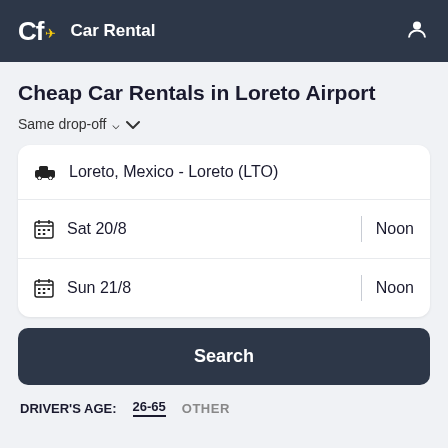Cf Car Rental
Cheap Car Rentals in Loreto Airport
Same drop-off
Loreto, Mexico - Loreto (LTO)
Sat 20/8  |  Noon
Sun 21/8  |  Noon
Search
DRIVER'S AGE: 26-65  OTHER